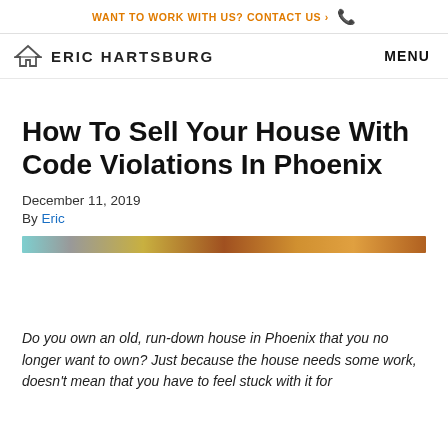WANT TO WORK WITH US? CONTACT US ›
ERIC HARTSBURG  MENU
How To Sell Your House With Code Violations In Phoenix
December 11, 2019
By Eric
[Figure (photo): Hero image strip showing a house, partially cropped at the top]
Do you own an old, run-down house in Phoenix that you no longer want to own? Just because the house needs some work, doesn’t mean that you have to feel stuck with it for